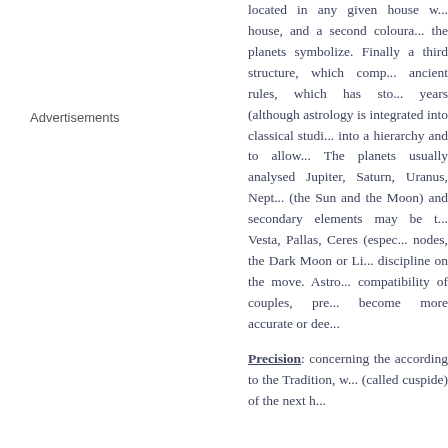Advertisements
located in any given house w... house, and a second coloura... the planets symbolize. Finally a third structure, which comp... ancient rules, which has sto... years (although astrology is integrated into classical studi... into a hierarchy and to allow... The planets usually analyse... Jupiter, Saturn, Uranus, Nept... (the Sun and the Moon) and secondary elements may be t... Vesta, Pallas, Ceres (espe... nodes, the Dark Moon or Li... discipline on the move. Astro... compatibility of couples, pre... become more accurate or dee...
Precision: concerning the according to the Tradition, w... (called cuspide) of the next h...